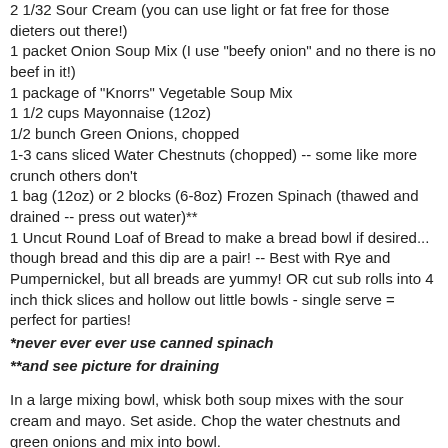2 1/32 Sour Cream (you can use light or fat free for those dieters out there!)
1 packet Onion Soup Mix (I use "beefy onion" and no there is no beef in it!)
1 package of "Knorrs" Vegetable Soup Mix
1 1/2 cups Mayonnaise (12oz)
1/2 bunch Green Onions, chopped
1-3 cans sliced Water Chestnuts (chopped) -- some like more crunch others don't
1 bag (12oz) or 2 blocks (6-8oz) Frozen Spinach (thawed and drained -- press out water)**
1 Uncut Round Loaf of Bread to make a bread bowl if desired... though bread and this dip are a pair! -- Best with Rye and Pumpernickel, but all breads are yummy! OR cut sub rolls into 4 inch thick slices and hollow out little bowls - single serve = perfect for parties!
*never ever ever use canned spinach
**and see picture for draining
In a large mixing bowl, whisk both soup mixes with the sour cream and mayo. Set aside. Chop the water chestnuts and green onions and mix into bowl.